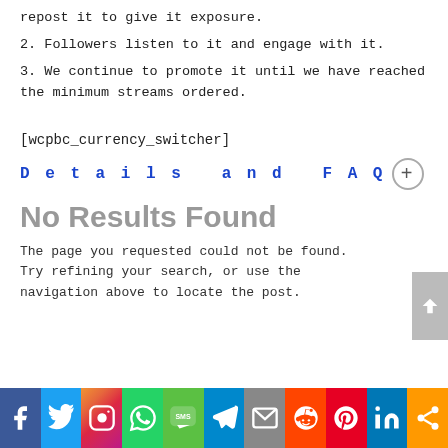repost it to give it exposure.
2. Followers listen to it and engage with it.
3. We continue to promote it until we have reached the minimum streams ordered.
[wcpbc_currency_switcher]
Details and FAQ
No Results Found
The page you requested could not be found. Try refining your search, or use the navigation above to locate the post.